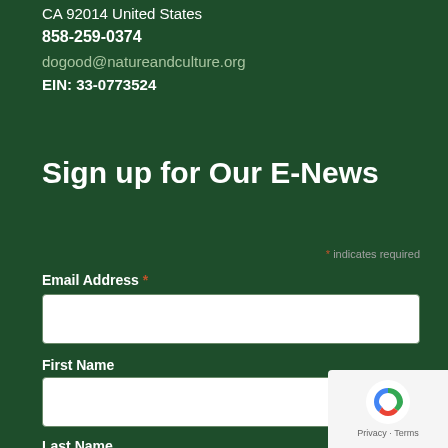CA 92014 United States
858-259-0374
dogood@natureandculture.org
EIN: 33-0773524
Sign up for Our E-News
* indicates required
Email Address *
First Name
Last Name